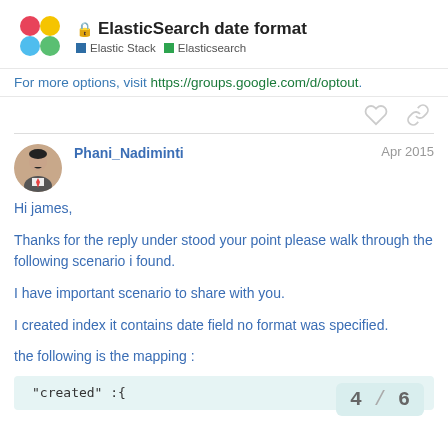ElasticSearch date format — Elastic Stack / Elasticsearch
For more options, visit https://groups.google.com/d/optout.
Phani_Nadiminti — Apr 2015
Hi james,
Thanks for the reply under stood your point please walk through the following scenario i found.
I have important scenario to share with you.
I created index it contains date field no format was specified.
the following is the mapping :
"created" :{